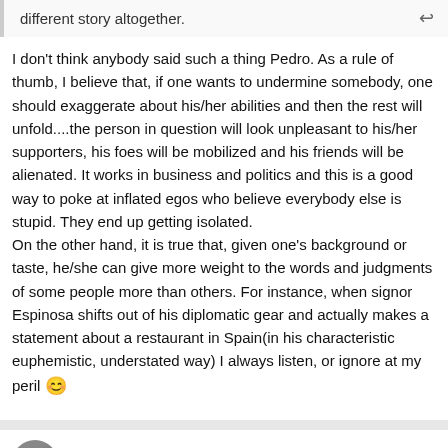different story altogether.
I don't think anybody said such a thing Pedro. As a rule of thumb, I believe that, if one wants to undermine somebody, one should exaggerate about his/her abilities and then the rest will unfold....the person in question will look unpleasant to his/her supporters, his foes will be mobilized and his friends will be alienated. It works in business and politics and this is a good way to poke at inflated egos who believe everybody else is stupid. They end up getting isolated.
On the other hand, it is true that, given one's background or taste, he/she can give more weight to the words and judgments of some people more than others. For instance, when signor Espinosa shifts out of his diplomatic gear and actually makes a statement about a restaurant in Spain(in his characteristic euphemistic, understated way) I always listen, or ignore at my peril 😊
docsconz